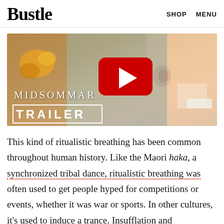Bustle   SHOP   MENU
[Figure (screenshot): YouTube video thumbnail for Midsommar Trailer showing a close-up of a woman's face with flowers in her hair, a YouTube play button overlay, and text reading 'MIDSOMMAR TRAILER']
This kind of ritualistic breathing has been common throughout human history. Like the Maori haka, a synchronized tribal dance, ritualistic breathing was often used to get people hyped for competitions or events, whether it was war or sports. In other cultures, it's used to induce a trance. Insufflation and exsufflation (breathing in and out) were thought to